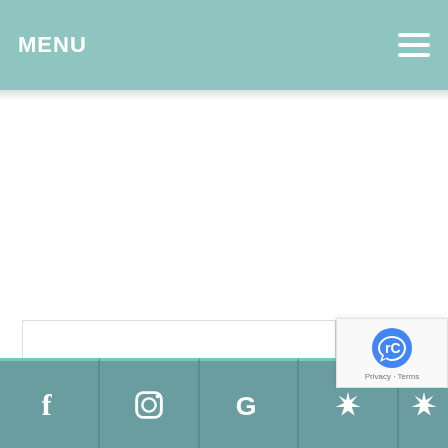MENU
[Figure (screenshot): Search input field with Search button on the right]
RECENT POSTS
What Is That Black Spot On Your Tooth – A cavity or S
[Figure (infographic): Social media icon bar with Facebook, Instagram, Google, Yelp icons on teal background]
[Figure (logo): reCAPTCHA badge with Privacy and Terms links]